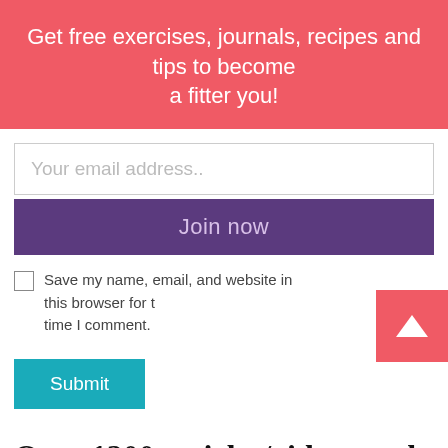Get free exercises, journals, recipes and tips to become a fitter you!
Your email address..
Join now
Save my name, email, and website in this browser for the next time I comment.
Submit
Over 1200 articles/videos and podcasts!!
Whether you want to read, listen or watch; Kathleen has over 1200 ways for you to make Your Future Fittest Self VERY Happy!!